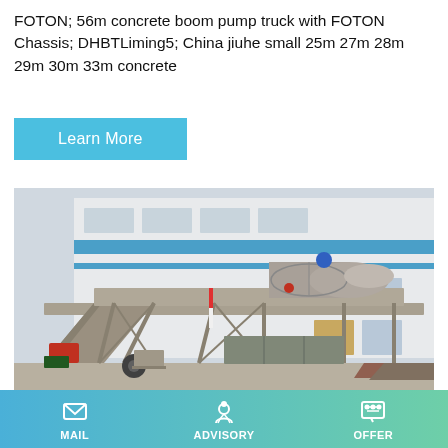FOTON; 56m concrete boom pump truck with FOTON Chassis; DHBTLiming5; China jiuhe small 25m 27m 28m 29m 30m 33m concrete
Learn More
[Figure (photo): Industrial mobile concrete batching plant with steel frame structure and conveyor belt system, photographed in front of a large factory building with blue horizontal stripe]
Official Manufacture Small Concrete
MAIL  ADVISORY  OFFER